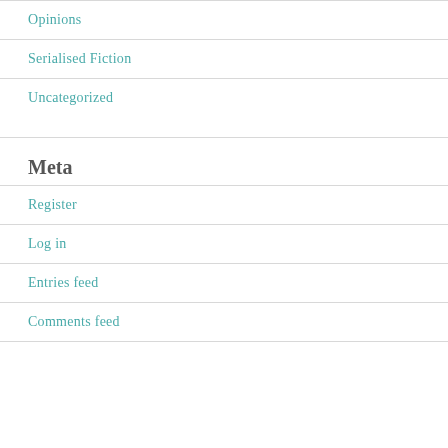Opinions
Serialised Fiction
Uncategorized
Meta
Register
Log in
Entries feed
Comments feed